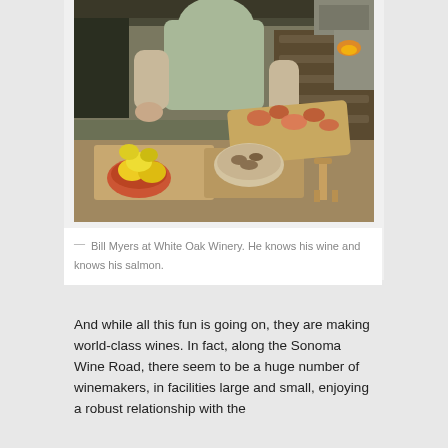[Figure (photo): A man in a light green polo shirt standing at an outdoor cooking station, holding a wooden board with cooked salmon and other food. There are cutting boards, lemons in a bowl, and firewood stacked in the background.]
— Bill Myers at White Oak Winery. He knows his wine and knows his salmon.
And while all this fun is going on, they are making world-class wines. In fact, along the Sonoma Wine Road, there seem to be a huge number of winemakers, in facilities large and small, enjoying a robust relationship with the